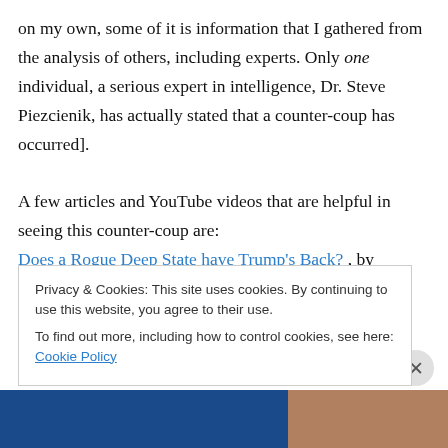on my own, some of it is information that I gathered from the analysis of others, including experts. Only one individual, a serious expert in intelligence, Dr. Steve Piezcienik, has actually stated that a counter-coup has occurred].
A few articles and YouTube videos that are helpful in seeing this counter-coup are:
Does a Rogue Deep State have Trump's Back? , by Charles Hugh Smith
Privacy & Cookies: This site uses cookies. By continuing to use this website, you agree to their use.
To find out more, including how to control cookies, see here: Cookie Policy